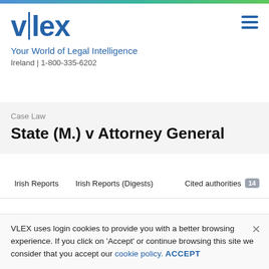[Figure (logo): vlex logo with vertical pipe between v and lex, in blue]
Your World of Legal Intelligence
Ireland | 1-800-335-6202
Case Law
State (M.) v Attorney General
Irish Reports   Irish Reports (Digests)   Cited authorities 14
Jurisdiction   Ireland
VLEX uses login cookies to provide you with a better browsing experience. If you click on 'Accept' or continue browsing this site we consider that you accept our cookie policy. ACCEPT